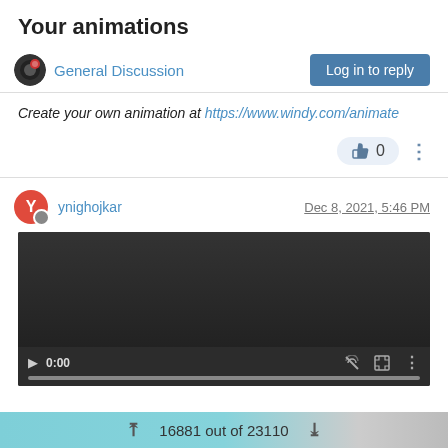Your animations
General Discussion | Log in to reply
Create your own animation at https://www.windy.com/animate
0
ynighojkar   Dec 8, 2021, 5:46 PM
[Figure (screenshot): Embedded video player showing 0:00 timestamp with dark background, play button, mute, fullscreen, and more options controls]
16881 out of 23110